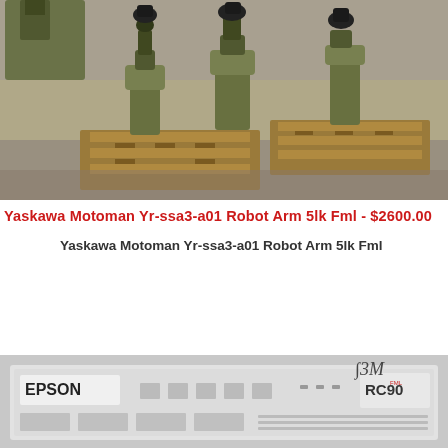[Figure (photo): Industrial robot arms mounted on wooden pallets on a concrete floor in a warehouse/factory setting. The robot arms appear green/olive colored with black mechanical joints.]
Yaskawa Motoman Yr-ssa3-a01 Robot Arm 5lk Fml - $2600.00
Yaskawa Motoman Yr-ssa3-a01 Robot Arm 5lk Fml
[Figure (photo): Close-up photo of an Epson RC90 industrial robot controller unit, white/grey colored with an Epson logo on the left and RC90 label visible on the right side.]